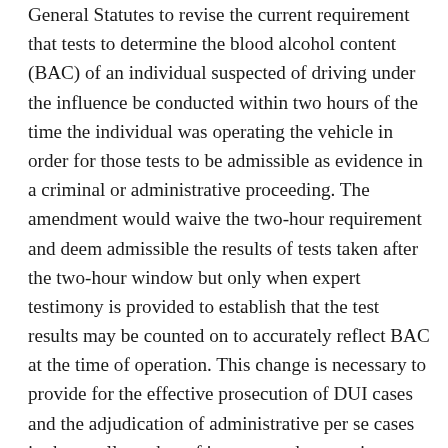General Statutes to revise the current requirement that tests to determine the blood alcohol content (BAC) of an individual suspected of driving under the influence be conducted within two hours of the time the individual was operating the vehicle in order for those tests to be admissible as evidence in a criminal or administrative proceeding. The amendment would waive the two-hour requirement and deem admissible the results of tests taken after the two-hour window but only when expert testimony is provided to establish that the test results may be counted on to accurately reflect BAC at the time of operation. This change is necessary to provide for the effective prosecution of DUI cases and the adjudication of administrative per se cases in the small number of instances where testing cannot be completed within two hours of vehicle operation. The reason that this may occur is simple: emergency personnel are focused on saving lives, not collecting evidence. In attending to the